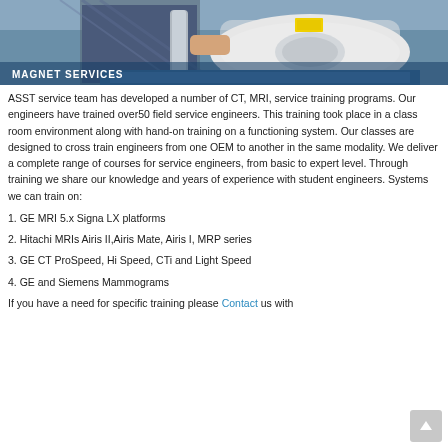[Figure (photo): Photo of a magnet/MRI machinery component with a person working on it, with 'MAGNET SERVICES' label overlay at the bottom left]
ASST service team has developed a number of CT, MRI, service training programs. Our engineers have trained over50 field service engineers. This training took place in a class room environment along with hand-on training on a functioning system. Our classes are designed to cross train engineers from one OEM to another in the same modality. We deliver a complete range of courses for service engineers, from basic to expert level. Through training we share our knowledge and years of experience with student engineers. Systems we can train on:
1. GE MRI 5.x Signa LX platforms
2. Hitachi MRIs Airis II,Airis Mate, Airis I, MRP series
3. GE CT ProSpeed, Hi Speed, CTi and Light Speed
4. GE and Siemens Mammograms
If you have a need for specific training please Contact us with